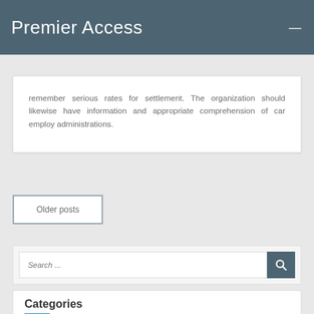Premier Access
remember serious rates for settlement. The organization should likewise have information and appropriate comprehension of car employ administrations.
Older posts
Search ...
Categories
Animation